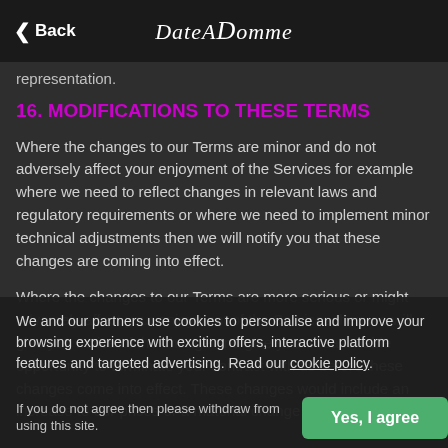Back | DateADomme
representation.
16. MODIFICATIONS TO THESE TERMS
Where the changes to our Terms are minor and do not adversely affect your enjoyment of the Services for example where we need to reflect changes in relevant laws and regulatory requirements or where we need to implement minor technical adjustments then we will notify you that these changes are coming into effect.
Where the changes to our Terms are more serious or might adversely affect your enjoyment of the Services then we will give you notice of the change and give you a reasonable opportunity to terminate your contract with us before these changes come into effect. These changes would include an increase to our prices or a material change in the Services.
We and our partners use cookies to personalise and improve your browsing experience with exciting offers, interactive platform features and targeted advertising. Read our cookie policy.
If you do not agree then please withdraw from using this site. Where you exercise your right to terminate under this ... will refund you an amount that is proportionate to the period of your
Yes, I agree